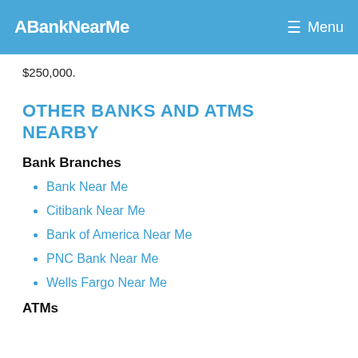ABankNearMe   Menu
$250,000.
OTHER BANKS AND ATMS NEARBY
Bank Branches
Bank Near Me
Citibank Near Me
Bank of America Near Me
PNC Bank Near Me
Wells Fargo Near Me
ATMs